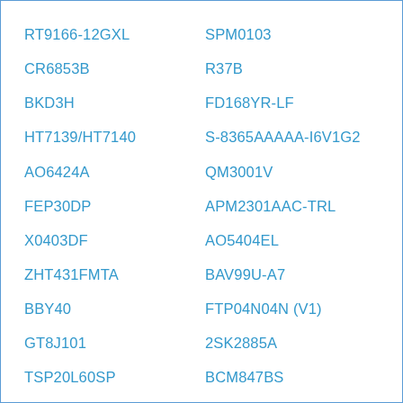RT9166-12GXL
SPM0103
CR6853B
R37B
BKD3H
FD168YR-LF
HT7139/HT7140
S-8365AAAAA-I6V1G2
AO6424A
QM3001V
FEP30DP
APM2301AAC-TRL
X0403DF
AO5404EL
ZHT431FMTA
BAV99U-A7
BBY40
FTP04N04N (V1)
GT8J101
2SK2885A
TSP20L60SP
BCM847BS
MBR20H200CT
2SK3673